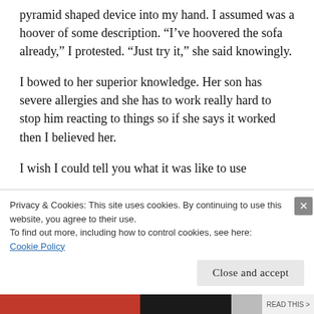pyramid shaped device into my hand. I assumed was a hoover of some description. “I’ve hoovered the sofa already,” I protested. “Just try it,” she said knowingly.
I bowed to her superior knowledge. Her son has severe allergies and she has to work really hard to stop him reacting to things so if she says it worked then I believed her.
I wish I could tell you what it was like to use
Privacy & Cookies: This site uses cookies. By continuing to use this website, you agree to their use.
To find out more, including how to control cookies, see here:
Cookie Policy
Close and accept